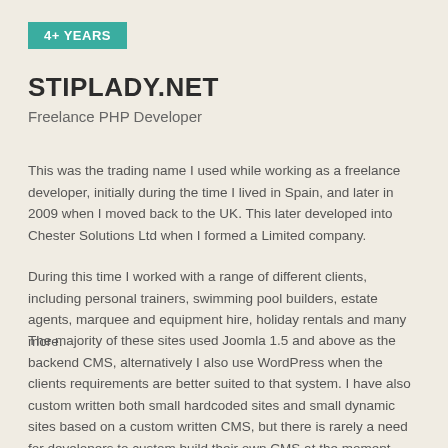4+ YEARS
STIPLADY.NET
Freelance PHP Developer
This was the trading name I used while working as a freelance developer, initially during the time I lived in Spain, and later in 2009 when I moved back to the UK. This later developed into Chester Solutions Ltd when I formed a Limited company.
During this time I worked with a range of different clients, including personal trainers, swimming pool builders, estate agents, marquee and equipment hire, holiday rentals and many more.
The majority of these sites used Joomla 1.5 and above as the backend CMS, alternatively I also use WordPress when the clients requirements are better suited to that system. I have also custom written both small hardcoded sites and small dynamic sites based on a custom written CMS, but there is rarely a need for developers to custom build their own CMS at the moment.